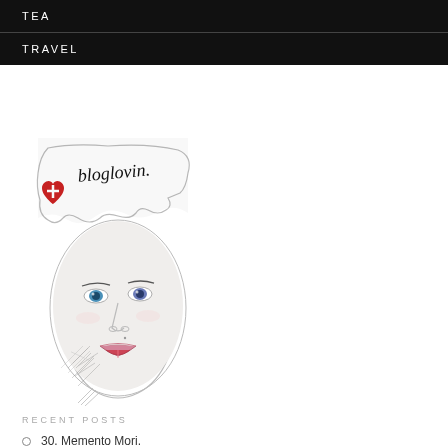TEA
TRAVEL
[Figure (illustration): Bloglovin logo illustration featuring a pencil-sketch face of a woman with blue eyes and parted lips, with a torn paper effect revealing 'bloglovin.' text and a red heart with a cross above her head.]
RECENT POSTS
30. Memento Mori.
Small Business Sundays: Lovely Somethings